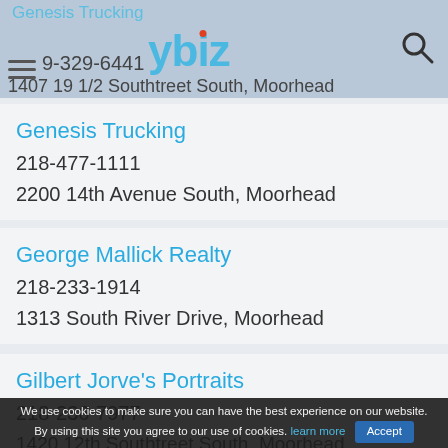Genesis Trucking / ybiz logo header with phone and address partial
Genesis Trucking
218-477-1111
2200 14th Avenue South, Moorhead
George Mallick Realty
218-233-1914
1313 South River Drive, Moorhead
Gilbert Jorve's Portraits
218-236-7977
1420 12th Southtreet South, Moorhead
We use cookies to make sure you can have the best experience on our website. By using this site you agree to our use of cookies. learn more  Accept